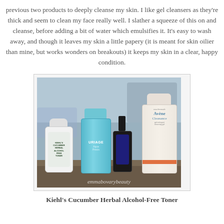previous two products to deeply cleanse my skin. I like gel cleansers as they're thick and seem to clean my face really well. I slather a squeeze of this on and cleanse, before adding a bit of water which emulsifies it. It's easy to wash away, and though it leaves my skin a little papery (it is meant for skin oilier than mine, but works wonders on breakouts) it keeps my skin in a clear, happy condition.
[Figure (photo): Photo of four skincare products on a surface: Kiehl's Cucumber Herbal Alcohol-Free Toner (small white bottle), Uriage Aqua Precis tube (blue), a small dark dropper bottle, and Avene Cleanance cleanser (large white tube with orange stripe). Watermark reads emmabovarybeauty.]
Kiehl's Cucumber Herbal Alcohol-Free Toner